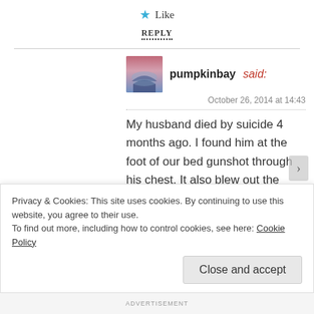★ Like
REPLY
pumpkinbay said:
October 26, 2014 at 14:43
My husband died by suicide 4 months ago. I found him at the foot of our bed gunshot through his chest. It also blew out the floor so for a month after there was a 3 foot hole in my livingroom ceiling. I was married 26 years and the pain
Privacy & Cookies: This site uses cookies. By continuing to use this website, you agree to their use.
To find out more, including how to control cookies, see here: Cookie Policy
Close and accept